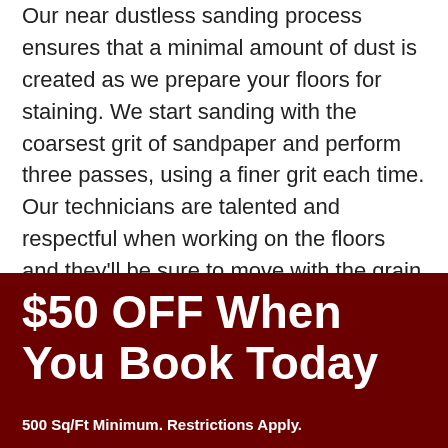Our near dustless sanding process ensures that a minimal amount of dust is created as we prepare your floors for staining. We start sanding with the coarsest grit of sandpaper and perform three passes, using a finer grit each time. Our technicians are talented and respectful when working on the floors and they'll be sure to move with the grain of the wood as much as possible. This helps to avoid uneven patches and ensure a spectacular finish. Since corners are often sanded too
$50 OFF When You Book Today
500 Sq/Ft Minimum. Restrictions Apply.